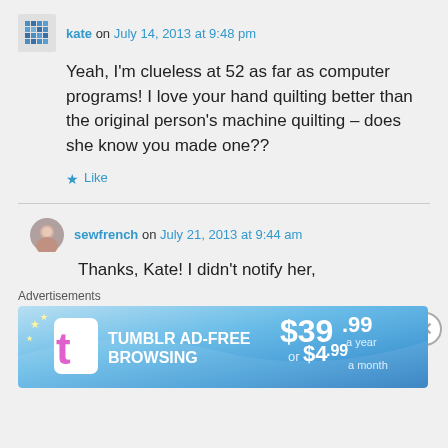kate on July 14, 2013 at 9:48 pm
Yeah, I'm clueless at 52 as far as computer programs! I love your hand quilting better than the original person's machine quilting – does she know you made one??
Like
sewfrench on July 21, 2013 at 9:44 am
Thanks, Kate! I didn't notify her,
Advertisements
[Figure (other): Tumblr Ad-Free Browsing advertisement banner showing $39.99 a year or $4.99 a month pricing]